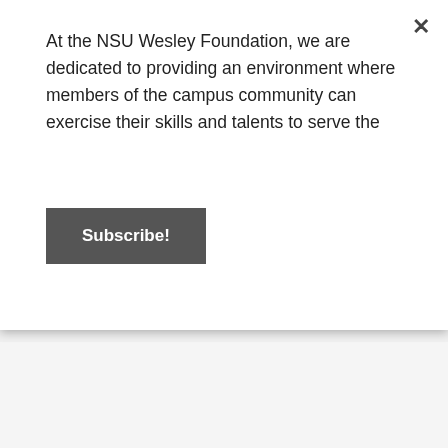At the NSU Wesley Foundation, we are dedicated to providing an environment where members of the campus community can exercise their skills and talents to serve the
Subscribe!
But there is a line, isn't there.
People will take from you, tear you down, suck you dry, leave you for dead. Learn to know what that looks like. Forgiveness is shedding the power someone has over you. Sometimes that means shedding the person themselves.
Do not be afraid to trim the fat.
They are not your responsibility.
Thank you.